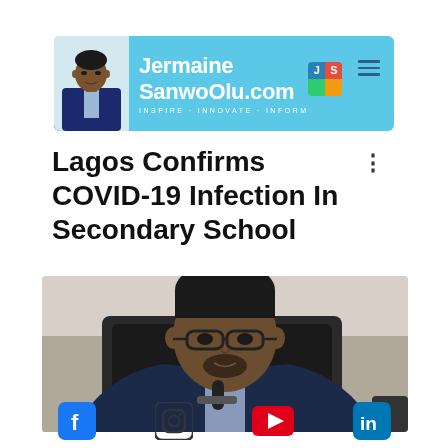[Figure (logo): JermaineSanwoOlu.com website header banner with photo of man in suit, colorful JS logo badge, site name in white bold text, tagline INSPIRE INNOVATE INFORM, and hamburger menu icon on sky blue background]
Lagos Confirms COVID-19 Infection In Secondary School
[Figure (photo): Close-up photo of a middle-aged Black man wearing glasses and a dark suit, holding a microphone, seated in a leather chair, speaking at a press conference]
[Figure (infographic): Social media icons row: Facebook (blue square with f), Instagram (outlined camera icon), YouTube (red rectangle with play button), LinkedIn (blue square with in)]